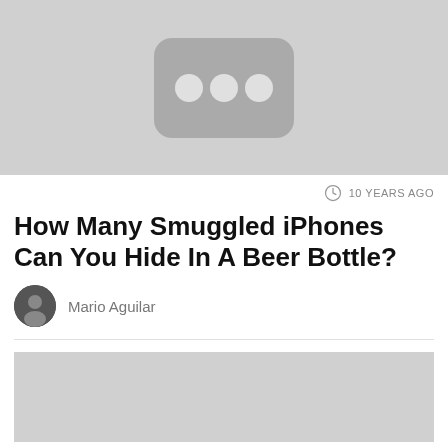[Figure (screenshot): Gray thumbnail image showing a YouTube-like play icon with three circular dots, cropped at top]
10 YEARS AGO
How Many Smuggled iPhones Can You Hide In A Beer Bottle?
Mario Aguilar
[Figure (other): Gray advertisement placeholder rectangle]
[Figure (other): Gizmodo advertisement banner with blue background, GIZMODO text on left, striped salmon/pink diagonal section in middle, and CLICK HERE button on right with colorful diagonal stripe accents]